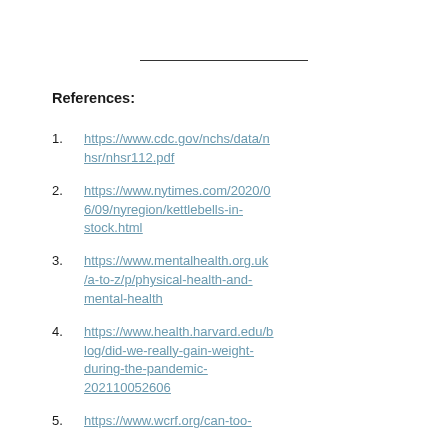References:
https://www.cdc.gov/nchs/data/nhsr/nhsr112.pdf
https://www.nytimes.com/2020/06/09/nyregion/kettlebells-in-stock.html
https://www.mentalhealth.org.uk/a-to-z/p/physical-health-and-mental-health
https://www.health.harvard.edu/blog/did-we-really-gain-weight-during-the-pandemic-202110052606
https://www.wcrf.org/can-too-